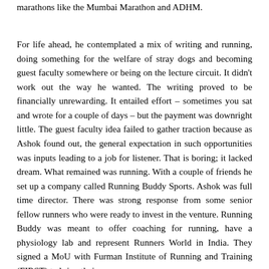marathons like the Mumbai Marathon and ADHM.
For life ahead, he contemplated a mix of writing and running, doing something for the welfare of stray dogs and becoming guest faculty somewhere or being on the lecture circuit. It didn't work out the way he wanted. The writing proved to be financially unrewarding. It entailed effort – sometimes you sat and wrote for a couple of days – but the payment was downright little. The guest faculty idea failed to gather traction because as Ashok found out, the general expectation in such opportunities was inputs leading to a job for listener. That is boring; it lacked dream. What remained was running. With a couple of friends he set up a company called Running Buddy Sports. Ashok was full time director. There was strong response from some senior fellow runners who were ready to invest in the venture. Running Buddy was meant to offer coaching for running, have a physiology lab and represent Runners World in India. They signed a MoU with Furman Institute of Running and Training (FIRST) to bring their